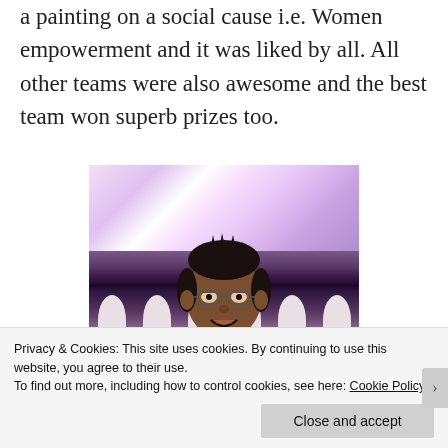a painting on a social cause i.e. Women empowerment and it was liked by all. All other teams were also awesome and the best team won superb prizes too.
[Figure (photo): A person taking a selfie at an indoor event hall/banquet with white chairs decorated with purple sashes, pink and purple decorations/banners in the background, and other attendees seated at tables.]
Privacy & Cookies: This site uses cookies. By continuing to use this website, you agree to their use.
To find out more, including how to control cookies, see here: Cookie Policy
Close and accept